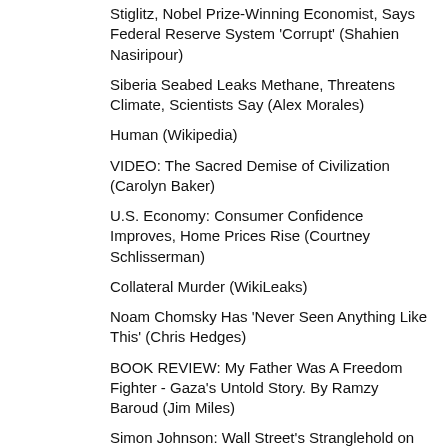Stiglitz, Nobel Prize-Winning Economist, Says Federal Reserve System 'Corrupt' (Shahien Nasiripour)
Siberia Seabed Leaks Methane, Threatens Climate, Scientists Say (Alex Morales)
Human (Wikipedia)
VIDEO: The Sacred Demise of Civilization (Carolyn Baker)
U.S. Economy: Consumer Confidence Improves, Home Prices Rise (Courtney Schlisserman)
Collateral Murder (WikiLeaks)
Noam Chomsky Has 'Never Seen Anything Like This' (Chris Hedges)
BOOK REVIEW: My Father Was A Freedom Fighter - Gaza's Untold Story. By Ramzy Baroud (Jim Miles)
Simon Johnson: Wall Street's Stranglehold on Our Democracy Must Be Broken (Zach Carter and Simon Johnson)
BOOK REVIEW: The Invention of the Jewish People. By Shlomo Sand (Jim Miles)